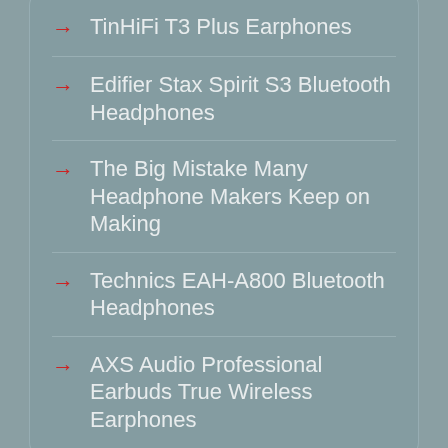TinHiFi T3 Plus Earphones
Edifier Stax Spirit S3 Bluetooth Headphones
The Big Mistake Many Headphone Makers Keep on Making
Technics EAH-A800 Bluetooth Headphones
AXS Audio Professional Earbuds True Wireless Earphones